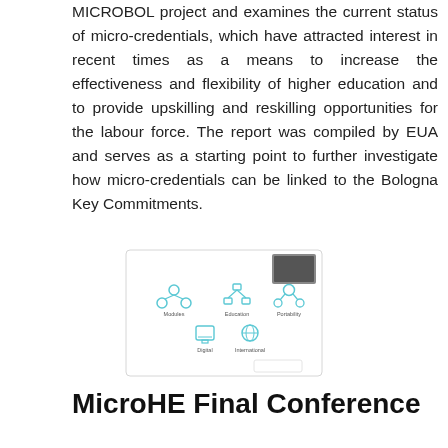MICROBOL project and examines the current status of micro-credentials, which have attracted interest in recent times as a means to increase the effectiveness and flexibility of higher education and to provide upskilling and reskilling opportunities for the labour force. The report was compiled by EUA and serves as a starting point to further investigate how micro-credentials can be linked to the Bologna Key Commitments.
[Figure (infographic): Infographic showing icons for micro-credential attributes: Network/Modules, Education, Portability, Digital, and International/Global, arranged in a grid with small icons and labels.]
MicroHE Final Conference